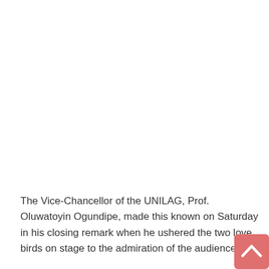The Vice-Chancellor of the UNILAG, Prof. Oluwatoyin Ogundipe, made this known on Saturday in his closing remark when he ushered the two love birds on stage to the admiration of the audience.
[Figure (other): A coral/salmon-colored rounded square button with an upward-pointing chevron arrow, positioned at the bottom-right corner of the page — a scroll-to-top UI element.]